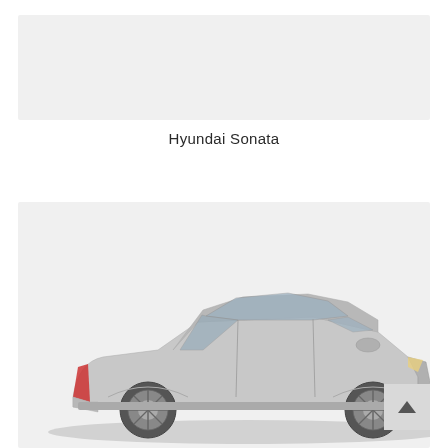[Figure (photo): Light gray rectangular placeholder image box at the top of the page]
Hyundai Sonata
[Figure (photo): Photo of a silver Hyundai Sonata (sedan) on a light gray background, viewed from the driver's side at a slight angle. The car is shown from approximately the B-pillar forward to the front grille. A small dark arrow-up button overlay appears in the bottom-right corner of the image.]